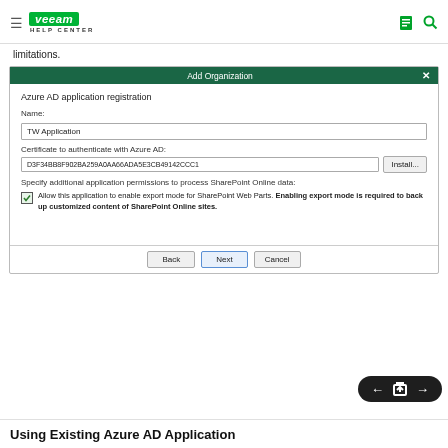VEEAM HELP CENTER
limitations.
[Figure (screenshot): Add Organization dialog showing Azure AD application registration form with Name field containing 'TW Application', Certificate field with hash 'D3F34BB8F902BA259A0AA66ADA5E3CB49142CCC1', Install button, permissions checkbox for SharePoint Web Parts export mode, and Back/Next/Cancel buttons.]
Using Existing Azure AD Application